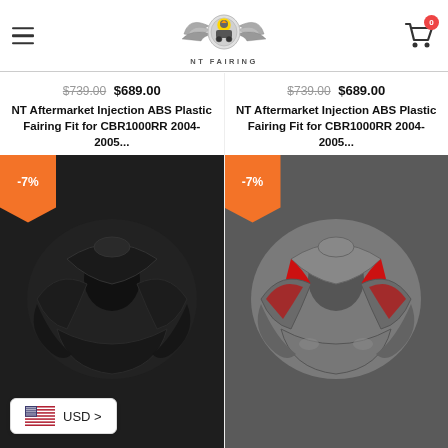[Figure (logo): NT Fairing logo with winged eagle and text NT FAIRING]
$739.00 $689.00
$739.00 $689.00
NT Aftermarket Injection ABS Plastic Fairing Fit for CBR1000RR 2004-2005...
NT Aftermarket Injection ABS Plastic Fairing Fit for CBR1000RR 2004-2005...
[Figure (photo): Matte black motorcycle fairing kit for CBR1000RR top-down view with -7% orange badge]
[Figure (photo): Gray and red motorcycle fairing kit for CBR1000RR top-down view with -7% orange badge]
USD >